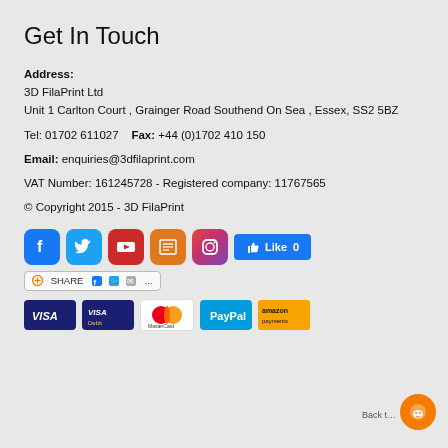Get In Touch
Address:
3D FilaPrint Ltd
Unit 1 Carlton Court , Grainger Road Southend On Sea , Essex, SS2 5BZ
Tel: 01702 611027   Fax: +44 (0)1702 410 150
Email: enquiries@3dfilaprint.com
VAT Number: 161245728 - Registered company: 11767565
© Copyright 2015 - 3D FilaPrint
[Figure (infographic): Social media icons: Facebook, Twitter, YouTube, News, Instagram, and a Facebook Like button showing 0 likes.]
[Figure (infographic): Share button with Facebook, Twitter, and email icons.]
[Figure (infographic): Payment method logos: Visa, Visa Debit, MasterCard, PayPal, Amazon Payments.]
[Figure (infographic): Orange circular Back to Top button with chat icon.]